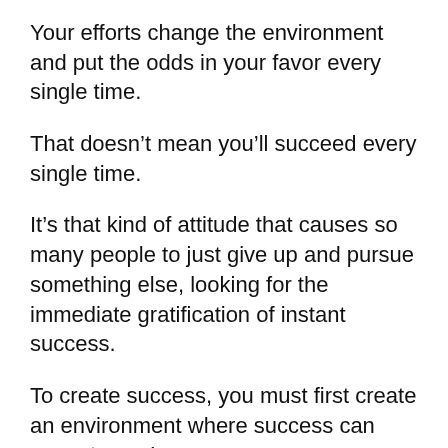Your efforts change the environment and put the odds in your favor every single time.
That doesn't mean you'll succeed every single time.
It's that kind of attitude that causes so many people to just give up and pursue something else, looking for the immediate gratification of instant success.
To create success, you must first create an environment where success can come to you!
Wealthy Affiliate will teach you through their Affiliate Bootcamp what it takes to create